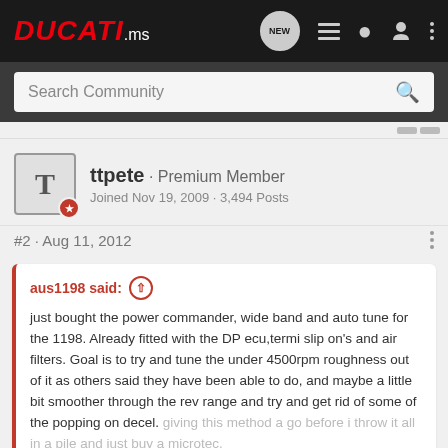DUCATI.ms
Search Community
ttpete · Premium Member
Joined Nov 19, 2009 · 3,494 Posts
#2 · Aug 11, 2012
aus1198 said: just bought the power commander, wide band and auto tune for the 1198. Already fitted with the DP ecu,termi slip on's and air filters. Goal is to try and tune the under 4500rpm roughness out of it as others said they have been able to do, and maybe a little bit smoother through the rev range and try and get rid of some of the popping on decel. giving this method a go before i throw it all in a pile and just buy a microtec.
Click to expand...